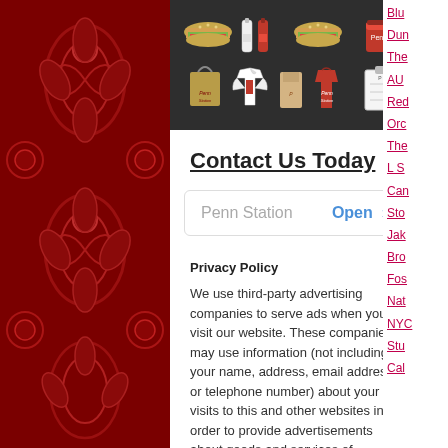[Figure (illustration): Dark background banner showing fast food branded merchandise: sandwiches, condiment bottles, a cup, a branded bag, a white polo shirt, a paper bag, a red apron, and a clipboard — all displayed as product icons on a dark charcoal background.]
Contact Us Today
Penn Station   Open >
Privacy Policy
We use third-party advertising companies to serve ads when you visit our website. These companies may use information (not including your name, address, email address, or telephone number) about your visits to this and other websites in order to provide advertisements about goods and services of interest to you. If you would like more information about this practice and
Blu
Dun
The
AU
Red
Orc
The
L S
Can
Sto
Jak
Bro
Fos
Nat
NYC
Stu
Cal